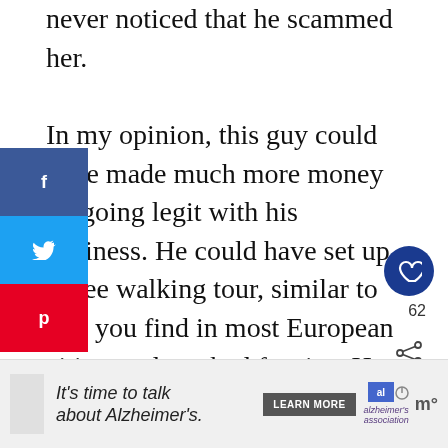never noticed that he scammed her.

In my opinion, this guy could have made much more money by going legit with his business. He could have set up a free walking tour, similar to that you find in most European cities, and worked for tips. He could have even charged a rate for tickets. After all, Addis Ababa doesn't have much tourist infrastructure. Some people may feel intimidated to wander around the city on their own. Many travelers would be happy to pay $20 for a day of authentic sightseeing in the city
[Figure (infographic): Social share sidebar with Facebook (blue), Twitter (light blue), and Pinterest (red) buttons]
[Figure (infographic): Heart/save button (dark blue circle) with count 62, and share icon below]
[Figure (infographic): What's Next box with thumbnail image and text: My Phone was Pickpockete...]
[Figure (infographic): Advertisement banner: It's time to talk about Alzheimer's. with LEARN MORE button and Alzheimer's Association logo]